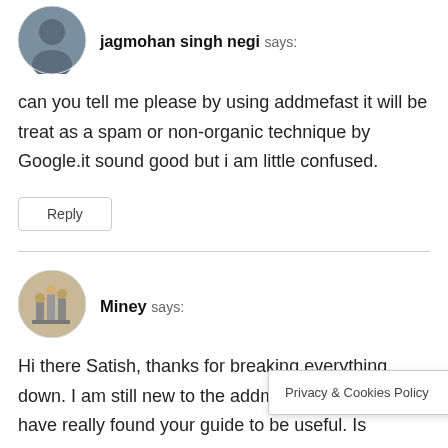[Figure (photo): Circular avatar of Jagmohan Singh Negi, a person]
Jagmohan Singh Negi says:
can you tell me please by using addmefast it will be treat as a spam or non-organic technique by Google.it sound good but i am little confused.
Reply
[Figure (photo): Circular avatar of Miney, showing chess pieces]
Miney says:
Hi there Satish, thanks for breaking everything down. I am still new to the addmefast site and I have really found your guide to be useful. Is ther dd the site directly other than using Please let
Privacy & Cookies Policy